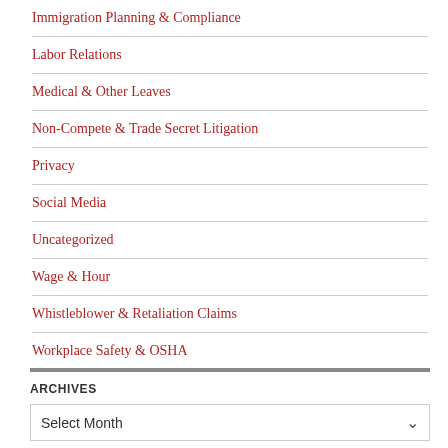Immigration Planning & Compliance
Labor Relations
Medical & Other Leaves
Non-Compete & Trade Secret Litigation
Privacy
Social Media
Uncategorized
Wage & Hour
Whistleblower & Retaliation Claims
Workplace Safety & OSHA
ARCHIVES
Select Month